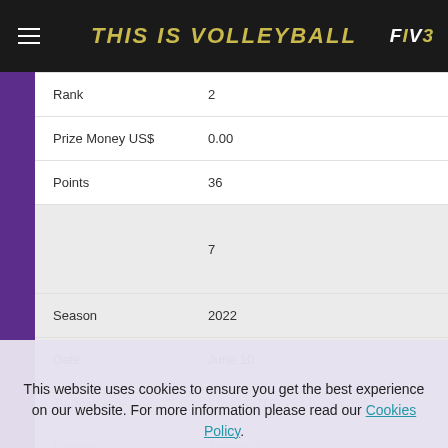THIS IS VOLLEYBALL
| Field | Value |
| --- | --- |
| Rank | 2 |
| Prize Money US$ | 0.00 |
| Points | 36 |
|  | 7 |
| Season | 2022 |
| Date | June 10 |
| Tournament | Ankara (ITF) |
| Partners | Andrea T. |
This website uses cookies to ensure you get the best experience on our website. For more information please read our Cookies Policy.
Ok